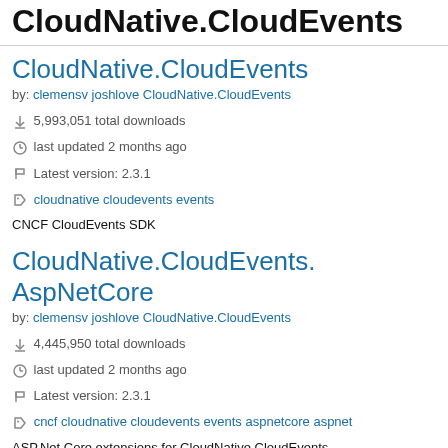CloudNative.CloudEvents
CloudNative.CloudEvents
by: clemensv joshlove CloudNative.CloudEvents
↓ 5,993,051 total downloads
⏱ last updated 2 months ago
⚑ Latest version: 2.3.1
◇ cloudnative cloudevents events
CNCF CloudEvents SDK
CloudNative.CloudEvents.AspNetCore
by: clemensv joshlove CloudNative.CloudEvents
↓ 4,445,950 total downloads
⏱ last updated 2 months ago
⚑ Latest version: 2.3.1
◇ cncf cloudnative cloudevents events aspnetcore aspnet
ASP.Net Core extensions for CloudNative.CloudEvents